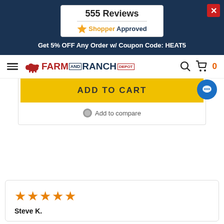555 Reviews
[Figure (logo): ShopperApproved logo with orange star and text]
Get 5% OFF Any Order w/ Coupon Code: HEAT5
[Figure (logo): Farm and Ranch Depot logo with red cow icon]
ADD TO CART
Add to compare
[Figure (other): Blue circular chat bubble icon]
★★★★★
Steve K.